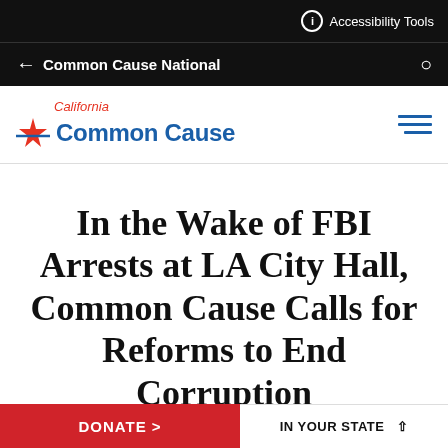Accessibility Tools
← Common Cause National
[Figure (logo): California Common Cause logo with star icon and text]
In the Wake of FBI Arrests at LA City Hall, Common Cause Calls for Reforms to End Corruption
06.29.2020 / 7:49 PM
DONATE > IN YOUR STATE ^